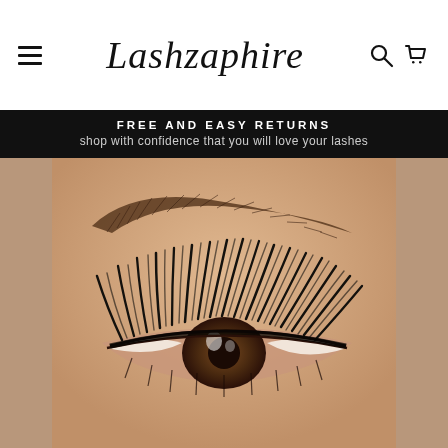Lashzaphire
FREE AND EASY RETURNS
shop with confidence that you will love your lashes
[Figure (photo): Close-up photo of an eye with dramatic long false eyelashes and a defined eyebrow, showcasing lash extensions on a warm skin tone background.]